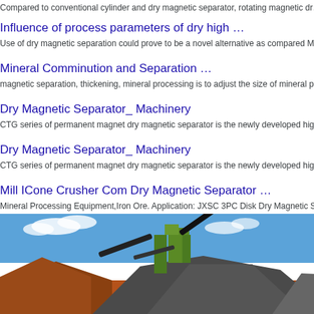Compared to conventional cylinder and dry magnetic separator, rotating magnetic dry…
Influence of process parameters of dry high …
Use of dry magnetic separation could prove to be a novel alternative as compared M…
Mineral Comminution and Separation …
magnetic separation, thickening, mineral processing is to adjust the size of mineral p…
Dry Magnetic Separator_ Machinery
CTG series of permanent magnet dry magnetic separator is the newly developed hig…
Dry Magnetic Separator_ Machinery
CTG series of permanent magnet dry magnetic separator is the newly developed hig…
Mill ICone Crusher Com Dry Magnetic Separator …
Mineral Processing Equipment,Iron Ore. Application: JXSC 3PC Disk Dry Magnetic S…
[Figure (photo): Outdoor industrial mineral processing facility with conveyor belts, machinery, and large piles of crushed ore/aggregate on red earth ground under blue sky.]